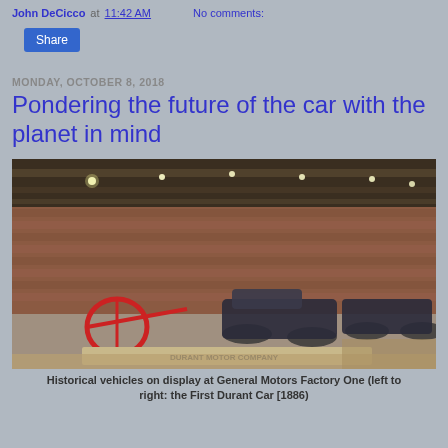John DeCicco at 11:42 AM   No comments:
Share
MONDAY, OCTOBER 8, 2018
Pondering the future of the car with the planet in mind
[Figure (photo): Historical vehicles on display inside General Motors Factory One — interior shows brick walls, wooden ceiling with lights, antique cars and a red farm implement on the floor. Sign reading 'DURANT MOTOR COMPANY' visible in foreground.]
Historical vehicles on display at General Motors Factory One (left to right: the First Durant Car [1886)